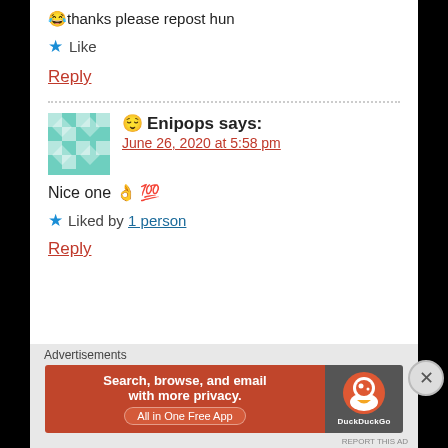😂thanks please repost hun
★ Like
Reply
😌 Enipops says:
June 26, 2020 at 5:58 pm
Nice one 👌 💯
★ Liked by 1 person
Reply
Advertisements
[Figure (screenshot): DuckDuckGo advertisement banner: Search, browse, and email with more privacy. All in One Free App]